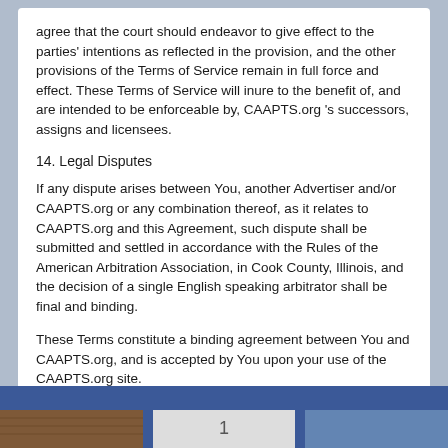agree that the court should endeavor to give effect to the parties' intentions as reflected in the provision, and the other provisions of the Terms of Service remain in full force and effect. These Terms of Service will inure to the benefit of, and are intended to be enforceable by, CAAPTS.org 's successors, assigns and licensees.
14. Legal Disputes
If any dispute arises between You, another Advertiser and/or CAAPTS.org or any combination thereof, as it relates to CAAPTS.org and this Agreement, such dispute shall be submitted and settled in accordance with the Rules of the American Arbitration Association, in Cook County, Illinois, and the decision of a single English speaking arbitrator shall be final and binding.
These Terms constitute a binding agreement between You and CAAPTS.org, and is accepted by You upon your use of the CAAPTS.org site.
[Figure (photo): Footer bar with dark blue background and three photo thumbnails at the bottom: a brick building on the left, a light/white center image with a number, and a blue-toned image on the right.]